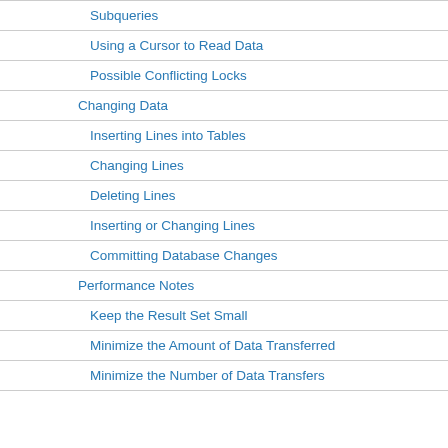Subqueries
Using a Cursor to Read Data
Possible Conflicting Locks
Changing Data
Inserting Lines into Tables
Changing Lines
Deleting Lines
Inserting or Changing Lines
Committing Database Changes
Performance Notes
Keep the Result Set Small
Minimize the Amount of Data Transferred
Minimize the Number of Data Transfers